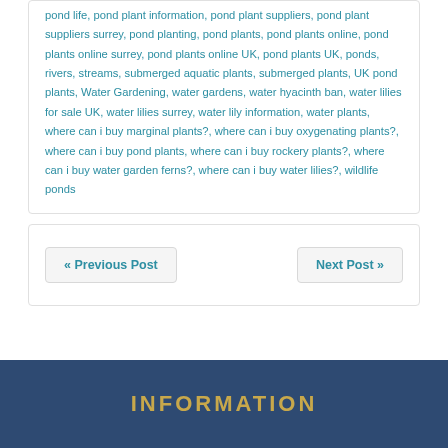pond life, pond plant information, pond plant suppliers, pond plant suppliers surrey, pond planting, pond plants, pond plants online, pond plants online surrey, pond plants online UK, pond plants UK, ponds, rivers, streams, submerged aquatic plants, submerged plants, UK pond plants, Water Gardening, water gardens, water hyacinth ban, water lilies for sale UK, water lilies surrey, water lily information, water plants, where can i buy marginal plants?, where can i buy oxygenating plants?, where can i buy pond plants, where can i buy rockery plants?, where can i buy water garden ferns?, where can i buy water lilies?, wildlife ponds
« Previous Post
Next Post »
INFORMATION